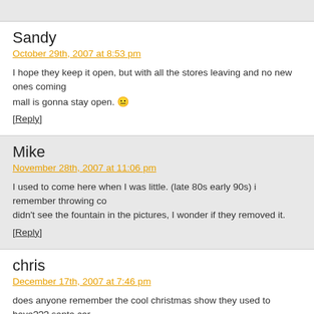Sandy
October 29th, 2007 at 8:53 pm
I hope they keep it open, but with all the stores leaving and no new ones coming in, I don't see how this mall is gonna stay open. 😐
[Reply]
Mike
November 28th, 2007 at 11:06 pm
I used to come here when I was little. (late 80s early 90s) i remember throwing coins in the fountain. I didn't see the fountain in the pictures, I wonder if they removed it.
[Reply]
chris
December 17th, 2007 at 7:46 pm
does anyone remember the cool christmas show they used to have??? santa cam... polar bear named "pinky" i think?????